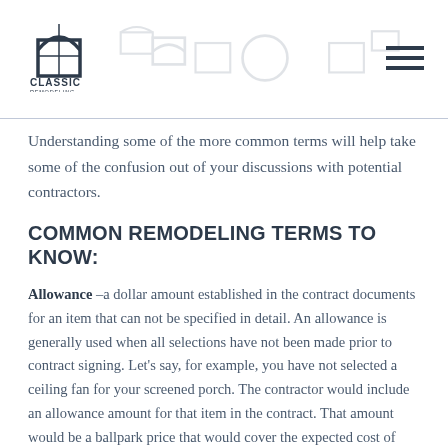Classic Remodeling & Construction
Understanding some of the more common terms will help take some of the confusion out of your discussions with potential contractors.
COMMON REMODELING TERMS TO KNOW:
Allowance –a dollar amount established in the contract documents for an item that can not be specified in detail. An allowance is generally used when all selections have not been made prior to contract signing. Let's say, for example, you have not selected a ceiling fan for your screened porch. The contractor would include an allowance amount for that item in the contract. That amount would be a ballpark price that would cover the expected cost of that item.
Design-Build – a project delivery method in which both design